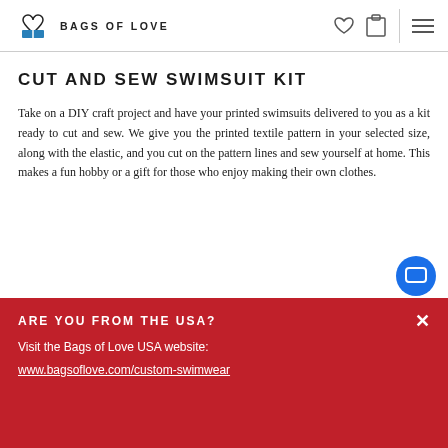BAGS OF LOVE
CUT AND SEW SWIMSUIT KIT
Take on a DIY craft project and have your printed swimsuits delivered to you as a kit ready to cut and sew. We give you the printed textile pattern in your selected size, along with the elastic, and you cut on the pattern lines and sew yourself at home. This makes a fun hobby or a gift for those who enjoy making their own clothes.
ARE YOU FROM THE USA?
Visit the Bags of Love USA website: www.bagsoflove.com/custom-swimwear